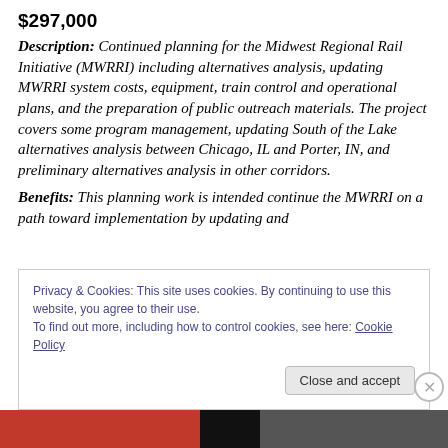$297,000
Description: Continued planning for the Midwest Regional Rail Initiative (MWRRI) including alternatives analysis, updating MWRRI system costs, equipment, train control and operational plans, and the preparation of public outreach materials. The project covers some program management, updating South of the Lake alternatives analysis between Chicago, IL and Porter, IN, and preliminary alternatives analysis in other corridors.
Benefits: This planning work is intended continue the MWRRI on a path toward implementation by updating and
Privacy & Cookies: This site uses cookies. By continuing to use this website, you agree to their use.
To find out more, including how to control cookies, see here: Cookie Policy
Close and accept